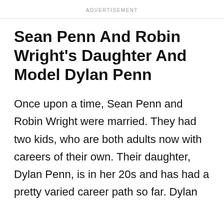ADVERTISEMENT
Sean Penn And Robin Wright's Daughter And Model Dylan Penn
Once upon a time, Sean Penn and Robin Wright were married. They had two kids, who are both adults now with careers of their own. Their daughter, Dylan Penn, is in her 20s and has had a pretty varied career path so far. Dylan